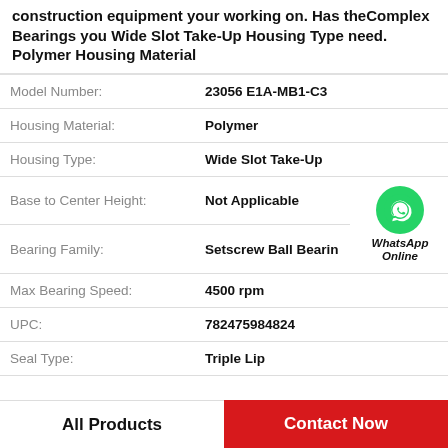construction equipment your working on. Has theComplex Bearings you Wide Slot Take-Up Housing Type need. Polymer Housing Material
| Attribute | Value |
| --- | --- |
| Model Number: | 23056 E1A-MB1-C3 |
| Housing Material: | Polymer |
| Housing Type: | Wide Slot Take-Up |
| Base to Center Height: | Not Applicable |
| Bearing Family: | Setscrew Ball Bearin |
| Max Bearing Speed: | 4500 rpm |
| UPC: | 782475984824 |
| Seal Type: | Triple Lip |
All Products
Contact Now